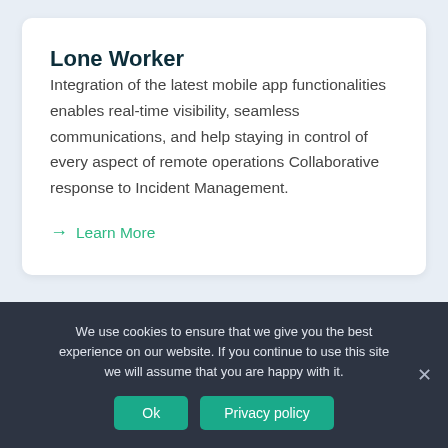Lone Worker
Integration of the latest mobile app functionalities enables real-time visibility, seamless communications, and help staying in control of every aspect of remote operations Collaborative response to Incident Management.
→ Learn More
We use cookies to ensure that we give you the best experience on our website. If you continue to use this site we will assume that you are happy with it.
Ok  Privacy policy